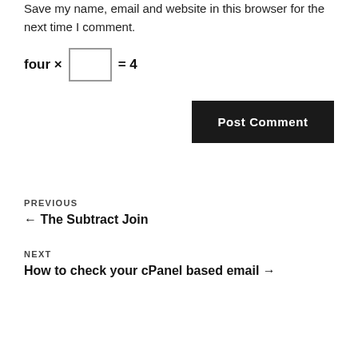Save my name, email and website in this browser for the next time I comment.
four × [input] = 4
Post Comment
PREVIOUS
← The Subtract Join
NEXT
How to check your cPanel based email →